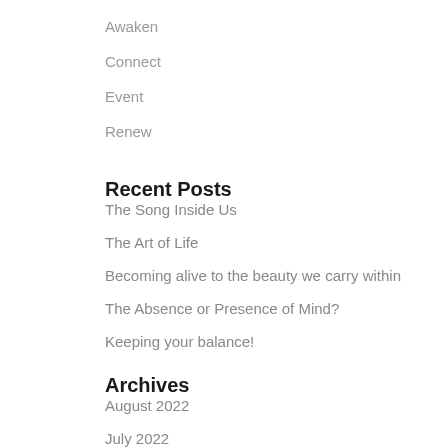Awaken
Connect
Event
Renew
Recent Posts
The Song Inside Us
The Art of Life
Becoming alive to the beauty we carry within
The Absence or Presence of Mind?
Keeping your balance!
Archives
August 2022
July 2022